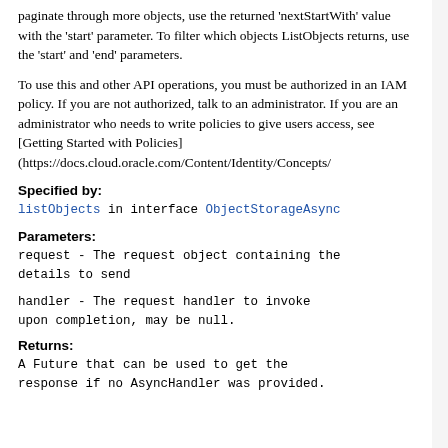paginate through more objects, use the returned 'nextStartWith' value with the 'start' parameter. To filter which objects ListObjects returns, use the 'start' and 'end' parameters.
To use this and other API operations, you must be authorized in an IAM policy. If you are not authorized, talk to an administrator. If you are an administrator who needs to write policies to give users access, see [Getting Started with Policies](https://docs.cloud.oracle.com/Content/Identity/Concepts/
Specified by:
listObjects in interface ObjectStorageAsync
Parameters:
request - The request object containing the details to send
handler - The request handler to invoke upon completion, may be null.
Returns:
A Future that can be used to get the response if no AsyncHandler was provided.